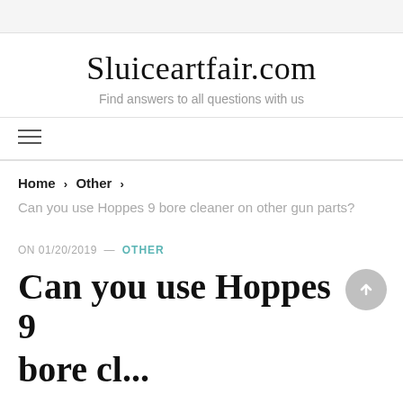Sluiceartfair.com
Find answers to all questions with us
Home › Other ›
Can you use Hoppes 9 bore cleaner on other gun parts?
ON 01/20/2019 — OTHER
Can you use Hoppes 9